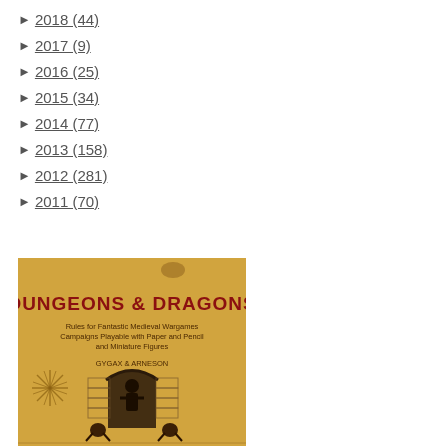► 2018 (44)
► 2017 (9)
► 2016 (25)
► 2015 (34)
► 2014 (77)
► 2013 (158)
► 2012 (281)
► 2011 (70)
[Figure (photo): Cover of the original Dungeons & Dragons box set. Orange/tan background with bold red text reading 'DUNGEONS & DRAGONS', subtitle 'Rules for Fantastic Medieval Wargames Campaigns Playable with Paper and Pencil and Miniature Figures', authors 'GYGAX & ARNESON', and illustrated figures of a warrior and monsters near a dungeon arch.]